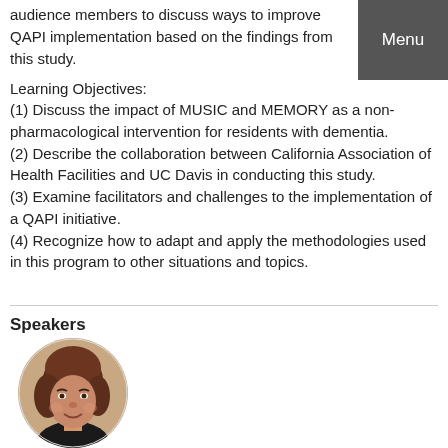audience members to discuss ways to improve QAPI implementation based on the findings from this study.
Menu
Learning Objectives:
(1) Discuss the impact of MUSIC and MEMORY as a non-pharmacological intervention for residents with dementia.
(2) Describe the collaboration between California Association of Health Facilities and UC Davis in conducting this study.
(3) Examine facilitators and challenges to the implementation of a QAPI initiative.
(4) Recognize how to adapt and apply the methodologies used in this program to other situations and topics.
Speakers
[Figure (photo): Circular portrait photo of a woman with curly brown hair, smiling, wearing a dark top.]